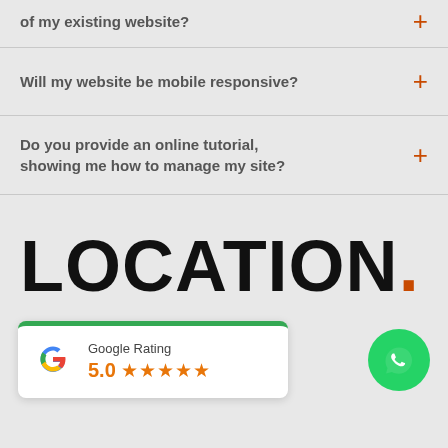of my existing website?
Will my website be mobile responsive?
Do you provide an online tutorial, showing me how to manage my site?
LOCATION.
[Figure (infographic): Google Rating badge showing 5.0 stars with Google G logo, green top border]
[Figure (logo): WhatsApp button - green circle with white WhatsApp phone icon]